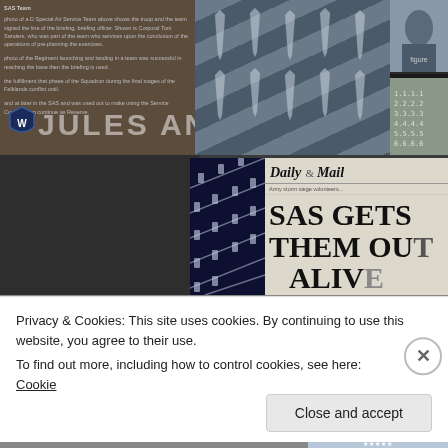[Figure (photo): Display board showing SAS/military memorabilia including photographs of soldiers, a shield/badge logo, patterned ties, and black-and-white historical photos. Text overlay reads 'JULES ANNAN'. Lower portion shows a framed book with diagonal stripe pattern and a partial Daily Mail newspaper front page with headline 'SAS GETS THEM OUT ALIVE'.]
Privacy & Cookies: This site uses cookies. By continuing to use this website, you agree to their use.
To find out more, including how to control cookies, see here: Cookie Policy
Close and accept